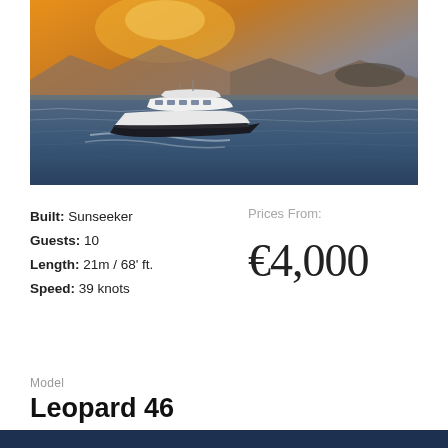[Figure (photo): A luxury motor yacht (Sunseeker) speeding across open water at sunset, with golden-orange sky, mountains in the background, and choppy sea water. The yacht is white with a sleek modern design.]
Built: Sunseeker
Guests: 10
Length: 21m / 68' ft.
Speed: 39 knots
Prices From:
€4,000
Model
Leopard 46